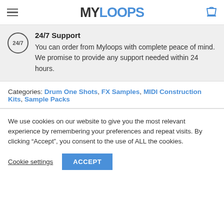MYLOOPS
24/7 Support
You can order from Myloops with complete peace of mind. We promise to provide any support needed within 24 hours.
Categories: Drum One Shots, FX Samples, MIDI Construction Kits, Sample Packs
We use cookies on our website to give you the most relevant experience by remembering your preferences and repeat visits. By clicking “Accept”, you consent to the use of ALL the cookies.
Cookie settings | ACCEPT